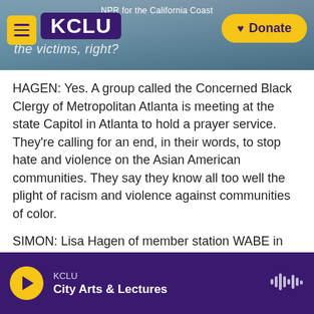KCLU — NPR for the California Coast
the victims, right?
HAGEN: Yes. A group called the Concerned Black Clergy of Metropolitan Atlanta is meeting at the state Capitol in Atlanta to hold a prayer service. They're calling for an end, in their words, to stop hate and violence on the Asian American communities. They say they know all too well the plight of racism and violence against communities of color.
SIMON: Lisa Hagen of member station WABE in Atlanta, thanks so much.
KCLU — City Arts & Lectures